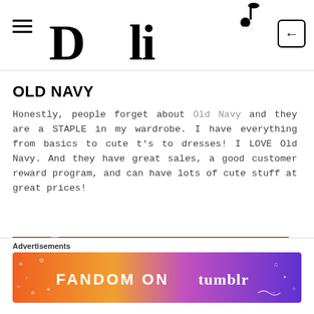D li [nav header with hamburger menu and login icon]
OLD NAVY
Honestly, people forget about Old Navy and they are a STAPLE in my wardrobe. I have everything from basics to cute t's to dresses! I LOVE Old Navy. And they have great sales, a good customer reward program, and can have lots of cute stuff at great prices!
[Figure (photo): Photo of pink flowering bushes/blooms, a person visible partially below]
Advertisements
[Figure (other): Tumblr advertisement banner — colorful gradient from orange to purple with text: FANDOM ON tumblr]